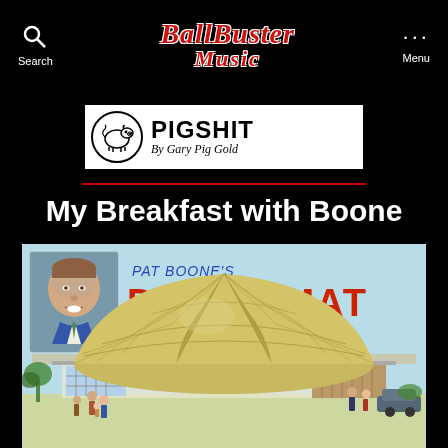Search | BallBuster Music | Menu
[Figure (logo): BallBuster Music logo in red italic serif font on black background]
[Figure (logo): PIGSHIT by Gary Pig Gold logo: pig in circle, bold text in white box with black border and red underline]
My Breakfast with Boone
[Figure (illustration): Vintage advertisement illustration for Pat Boone's Dine-O-Mat showing a geodesic dome restaurant building with people outside, and a portrait photo of Pat Boone in upper left. 'PAT BOONE'S' in blue italic and 'DINE·O·MAT' in large red text on light blue background.]